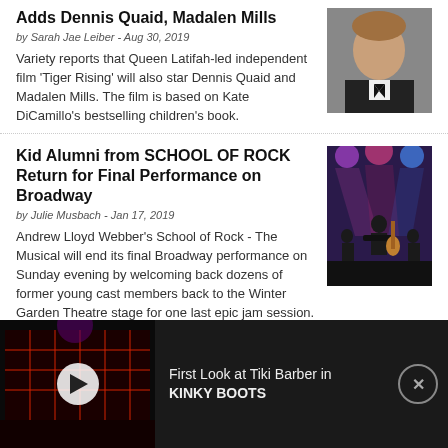Adds Dennis Quaid, Madalen Mills
by Sarah Jae Leiber - Aug 30, 2019
Variety reports that Queen Latifah-led independent film 'Tiger Rising' will also star Dennis Quaid and Madalen Mills. The film is based on Kate DiCamillo's bestselling children's book.
[Figure (photo): Headshot of Dennis Quaid in a tuxedo]
Kid Alumni from SCHOOL OF ROCK Return for Final Performance on Broadway
by Julie Musbach - Jan 17, 2019
Andrew Lloyd Webber's School of Rock - The Musical will end its final Broadway performance on Sunday evening by welcoming back dozens of former young cast members back to the Winter Garden Theatre stage for one last epic jam session.
[Figure (photo): School of Rock stage performance with colorful lights]
[Figure (screenshot): Ad bar: First Look at Tiki Barber in KINKY BOOTS video thumbnail with stage scene]
First Look at Tiki Barber in KINKY BOOTS